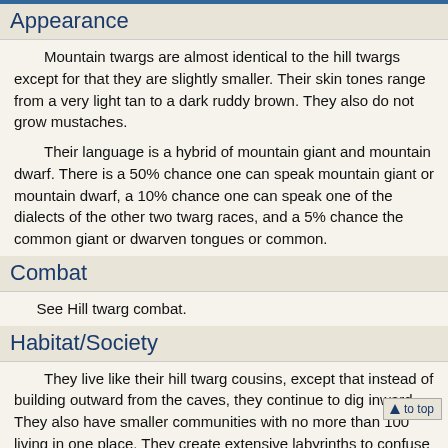Appearance
Mountain twargs are almost identical to the hill twargs except for that they are slightly smaller. Their skin tones range from a very light tan to a dark ruddy brown. They also do not grow mustaches.
Their language is a hybrid of mountain giant and mountain dwarf. There is a 50% chance one can speak mountain giant or mountain dwarf, a 10% chance one can speak one of the dialects of the other two twarg races, and a 5% chance the common giant or dwarven tongues or common.
Combat
See Hill twarg combat.
Habitat/Society
They live like their hill twarg cousins, except that instead of building outward from the caves, they continue to dig inward. They also have smaller communities with no more than 100 living in one place. They create extensive labyrinths to confuse any one who tries to invade. They have also learned how to cultivate certain plants in their